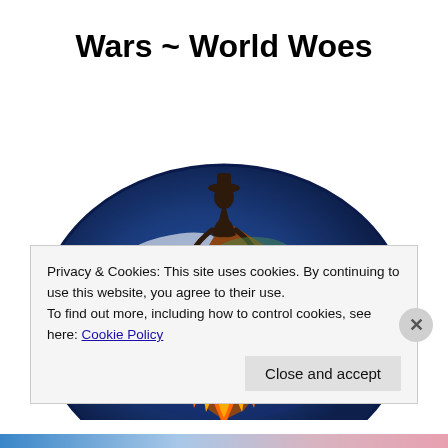Wars ~ World Woes
[Figure (illustration): A globe of Earth cracked open with fire and flames visible inside, a dark silhouette figure standing on the globe's surface amid the destruction, white background.]
Privacy & Cookies: This site uses cookies. By continuing to use this website, you agree to their use.
To find out more, including how to control cookies, see here: Cookie Policy
Close and accept